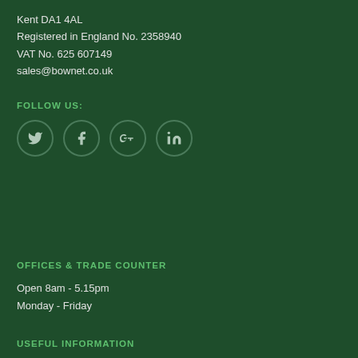Kent DA1 4AL
Registered in England No. 2358940
VAT No. 625 607149
sales@bownet.co.uk
FOLLOW US:
[Figure (other): Four social media icons in circles: Twitter (bird), Facebook (f), Google+ (g+), LinkedIn (in)]
OFFICES & TRADE COUNTER
Open 8am - 5.15pm
Monday - Friday
USEFUL INFORMATION
Delivery Services and Returns Policy